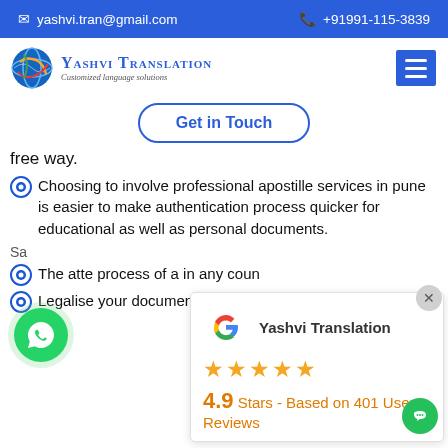yashvi.tran@gmail.com  +91991-115-3839
[Figure (logo): Yashvi Translation logo with globe icon, text 'Yashvi Translation' and 'Customized language solutions']
Get in Touch
free way.
Choosing to involve professional apostille services in pune is easier to make authentication process quicker for educational as well as personal documents.
Sa...
The attestation... process of a... in any coun...
Legalise your documents is mainly attestation of the global
[Figure (infographic): Google review widget showing Yashvi Translation, 5 stars, 4.9 Stars - Based on 401 User Reviews]